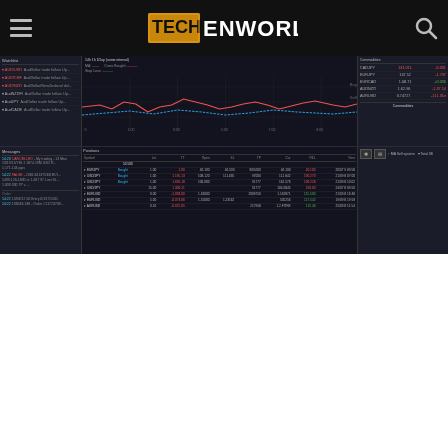TECHENWORLD
[Figure (screenshot): Trading platform screenshot showing forex trading interface with multiple panels: left panel with currency pairs (AUD/USD, AUD/CHF, AUD/NZD, AUD/JPY, AUD/CAD), center panel with price chart/line chart, right panel with commodities prices. Bottom section shows Messages panel, Positions table with forex trades (EUR/JPY, USD/JPY, EUR/USD entries with buy/sell info, prices, P&L), and Commodities panel.]